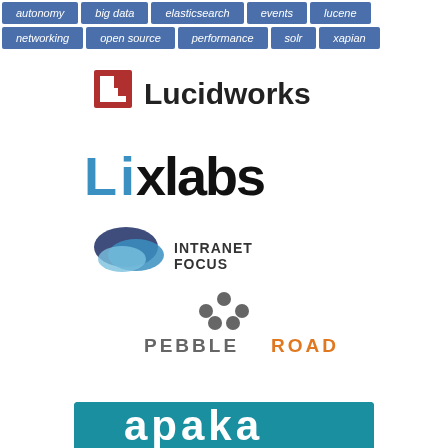autonomy big data elasticsearch events lucene networking open source performance solr xapian
[Figure (logo): Lucidworks logo with red L-shaped bracket mark and bold text]
[Figure (logo): UXlabs logo in blue and black bold stylized text]
[Figure (logo): Intranet Focus logo with overlapping oval shapes and text]
[Figure (logo): Pebble Road logo with grey dot cluster icon and grey/orange text]
[Figure (logo): Partial logo on teal/blue background, text partially visible at bottom]